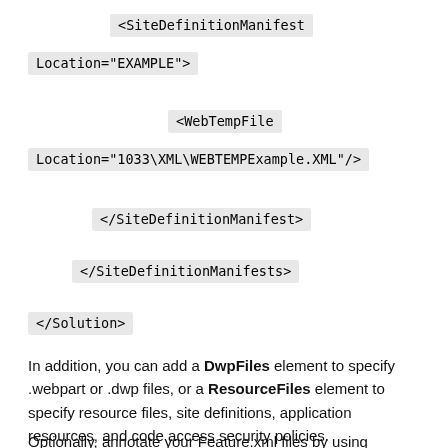<SiteDefinitionManifest
Location="EXAMPLE">
<WebTempFile
Location="1033\XML\WEBTEMPExample.XML"/>
</SiteDefinitionManifest>
</SiteDefinitionManifests>
</Solution>
In addition, you can add a DwpFiles element to specify .webpart or .dwp files, or a ResourceFiles element to specify resource files, site definitions, application resources, and code access security policies.
Optionally, annotate your Feature.xml files by using